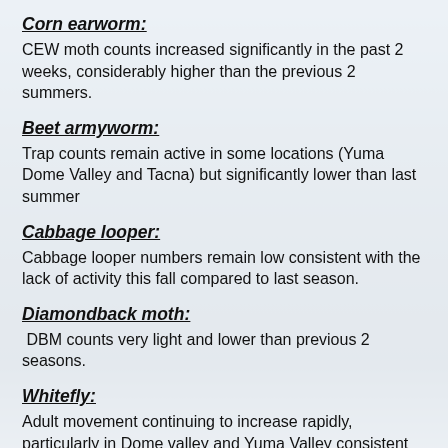Corn earworm:
CEW moth counts increased significantly in the past 2 weeks, considerably higher than the previous 2 summers.
Beet armyworm:
Trap counts remain active in some locations (Yuma Dome Valley and Tacna) but significantly lower than last summer
Cabbage looper:
Cabbage looper numbers remain low consistent with the lack of activity this fall compared to last season.
Diamondback moth:
DBM counts very light and lower than previous 2 seasons.
Whitefly:
Adult movement continuing to increase rapidly, particularly in Dome valley and Yuma Valley consistent